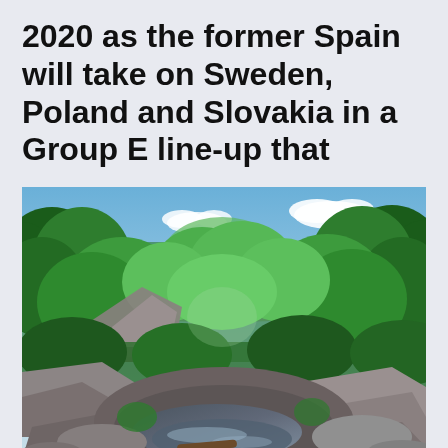2020 as the former Spain will take on Sweden, Poland and Slovakia in a Group E line-up that
[Figure (photo): Landscape photo of a rocky stream or waterfall surrounded by lush green deciduous trees and forest, with blue sky and white clouds visible above the tree line, and distant mountains or hills in the background. Rocky foreground with water flowing over stones.]